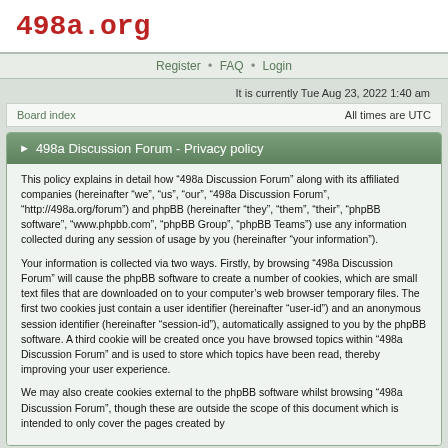498a.org
Register • FAQ • Login
It is currently Tue Aug 23, 2022 1:40 am
Board index    All times are UTC
▶ 498a Discussion Forum - Privacy policy
This policy explains in detail how "498a Discussion Forum" along with its affiliated companies (hereinafter "we", "us", "our", "498a Discussion Forum", "http://498a.org/forum") and phpBB (hereinafter "they", "them", "their", "phpBB software", "www.phpbb.com", "phpBB Group", "phpBB Teams") use any information collected during any session of usage by you (hereinafter "your information").
Your information is collected via two ways. Firstly, by browsing "498a Discussion Forum" will cause the phpBB software to create a number of cookies, which are small text files that are downloaded on to your computer's web browser temporary files. The first two cookies just contain a user identifier (hereinafter "user-id") and an anonymous session identifier (hereinafter "session-id"), automatically assigned to you by the phpBB software. A third cookie will be created once you have browsed topics within "498a Discussion Forum" and is used to store which topics have been read, thereby improving your user experience.
We may also create cookies external to the phpBB software whilst browsing "498a Discussion Forum", though these are outside the scope of this document which is intended to only cover the pages created by...